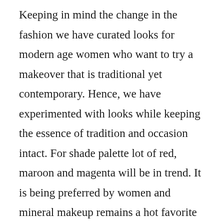Keeping in mind the change in the fashion we have curated looks for modern age women who want to try a makeover that is traditional yet contemporary. Hence, we have experimented with looks while keeping the essence of tradition and occasion intact. For shade palette lot of red, maroon and magenta will be in trend. It is being preferred by women and mineral makeup remains a hot favorite for them because of its finesse. Unlike last year gold shade is not being preferred and focus is more on pastel shades for eye makeup. We have done a lot many contemporary hair buns that have become global fashion. They have added a hint of Indianness with accessorizing hairstyles with flower power.